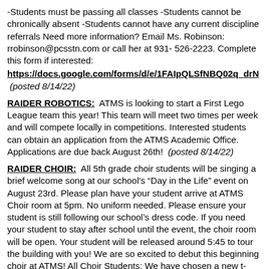-Students must be passing all classes -Students cannot be chronically absent -Students cannot have any current discipline referrals Need more information? Email Ms. Robinson: rrobinson@pcsstn.com or call her at 931-526-2223. Complete this form if interested: https://docs.google.com/forms/d/e/1FAIpQLSfNBQ02q_drN (posted 8/14/22)
RAIDER ROBOTICS: ATMS is looking to start a First Lego League team this year! This team will meet two times per week and will compete locally in competitions. Interested students can obtain an application from the ATMS Academic Office. Applications are due back August 26th! (posted 8/14/22)
RAIDER CHOIR: All 5th grade choir students will be singing a brief welcome song at our school's "Day in the Life" event on August 23rd. Please plan have your student arrive at ATMS Choir room at 5pm. No uniform needed. Please ensure your student is still following our school's dress code. If you need your student to stay after school until the event, the choir room will be open. Your student will be released around 5:45 to tour the building with you! We are so excited to debut this beginning choir at ATMS! All Choir Students: We have chosen a new t-shirt design! Look for the order forms to be going out